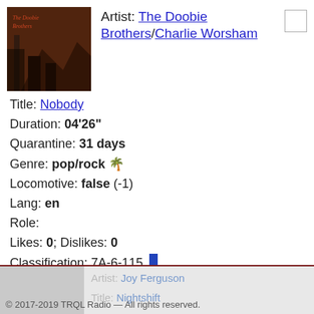[Figure (illustration): Album cover art for The Doobie Brothers - dark reddish-brown background with stairs/interior scene]
Artist: The Doobie Brothers/Charlie Worsham
Title: Nobody
Duration: 04'26"
Quarantine: 31 days
Genre: pop/rock 🌴
Locomotive: false (-1)
Lang: en
Role:
Likes: 0; Dislikes: 0
Classification: 7A-6-115
Last play: 14/04/2019 at 01:47:56
© 2017-2019 TRQL Radio — All rights reserved.